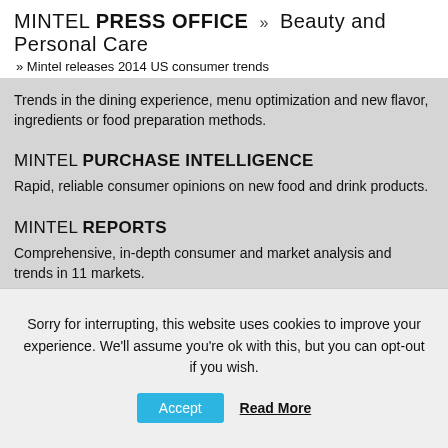MINTEL PRESS OFFICE » Beauty and Personal Care » Mintel releases 2014 US consumer trends
Trends in the dining experience, menu optimization and new flavor, ingredients or food preparation methods.
MINTEL PURCHASE INTELLIGENCE
Rapid, reliable consumer opinions on new food and drink products.
MINTEL REPORTS
Comprehensive, in-depth consumer and market analysis and trends in 11 markets.
MINTEL TRENDS
Sorry for interrupting, this website uses cookies to improve your experience. We'll assume you're ok with this, but you can opt-out if you wish.